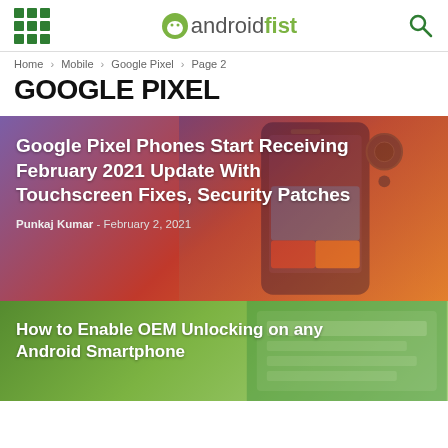androidfist
Home > Mobile > Google Pixel > Page 2
GOOGLE PIXEL
[Figure (photo): Google Pixel phone with blurred purple-orange gradient background showing the rear camera and blue screen]
Google Pixel Phones Start Receiving February 2021 Update With Touchscreen Fixes, Security Patches
Punkaj Kumar - February 2, 2021
[Figure (photo): Green toned background showing Android Developer Options screen]
How to Enable OEM Unlocking on any Android Smartphone